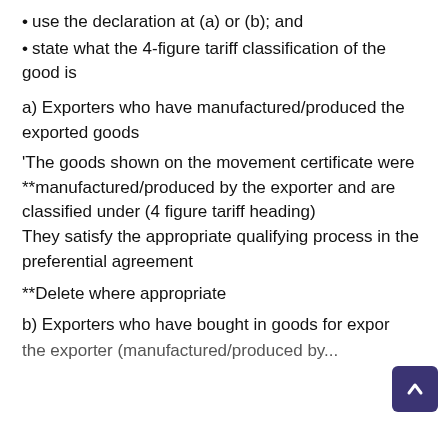use the declaration at (a) or (b); and
state what the 4-figure tariff classification of the good is
a) Exporters who have manufactured/produced the exported goods
'The goods shown on the movement certificate were **manufactured/produced by the exporter and are
classified under (4 figure tariff heading)
They satisfy the appropriate qualifying process in the preferential agreement
**Delete where appropriate
b) Exporters who have bought in goods for export the exporter (manufactured/produced by...